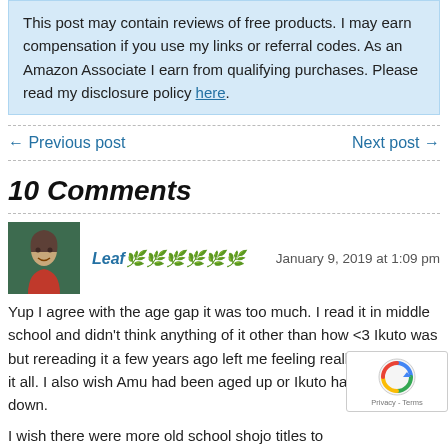This post may contain reviews of free products. I may earn compensation if you use my links or referral codes. As an Amazon Associate I earn from qualifying purchases. Please read my disclosure policy here.
← Previous post   Next post →
10 Comments
Leaf🌿🌿🌿🌿🌿🌿 January 9, 2019 at 1:09 pm
Yup I agree with the age gap it was too much. I read it in middle school and didn't think anything of it other than how <3 Ikuto was but rereading it a few years ago left me feeling really weird about it all. I also wish Amu had been aged up or Ikuto had been aged down.
I wish there were more old school shojo titles to